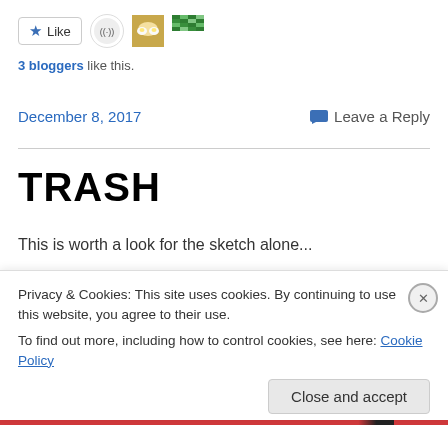[Figure (other): Like button with star icon, a circular avatar with a wifi/sound wave logo, a small food photo avatar, and a colorful pixel-art avatar]
3 bloggers like this.
December 8, 2017
Leave a Reply
TRASH
This is worth a look for the sketch alone...
[Figure (screenshot): Embedded content card showing The Five Ws of... with a green circular icon]
Privacy & Cookies: This site uses cookies. By continuing to use this website, you agree to their use.
To find out more, including how to control cookies, see here: Cookie Policy
Close and accept